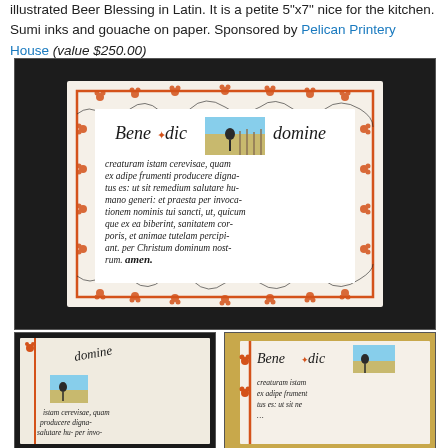illustrated Beer Blessing in Latin. It is a petite 5"x7" nice for the kitchen. Sumi inks and gouache on paper. Sponsored by Pelican Printery House (value $250.00)
[Figure (photo): Three photographs of an illuminated manuscript-style card featuring a Beer Blessing in Latin ('Benedicite domine'). The main large photo shows the full card with an ornate border of orange floral scrollwork on black background, containing calligraphic Latin text and a small illustration of a figure in a wheat field. Two smaller detail photos below show close-ups of the calligraphy and the 'Benedicite domine' heading.]